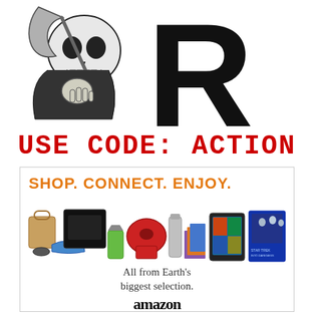[Figure (logo): Grim Reaper skull mascot with a large black letter R logo and text USE CODE: ACTION in red below]
USE CODE: ACTION
[Figure (illustration): Amazon advertisement box showing products (PS4, KitchenAid mixer, Kindle tablet, books, shoes, bag, Star Trek DVD) with text SHOP. CONNECT. ENJOY. and All from Earth's biggest selection. amazon]
SHOP. CONNECT. ENJOY.
All from Earth's biggest selection.
amazon